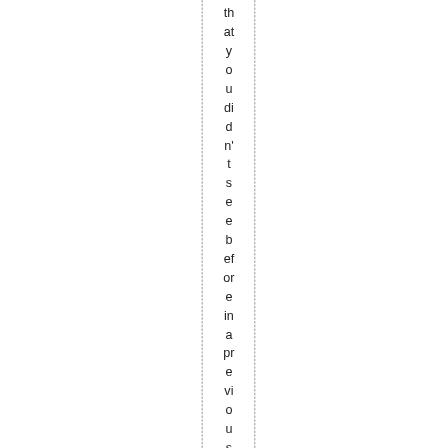that you didn't see before in a previous series (unl